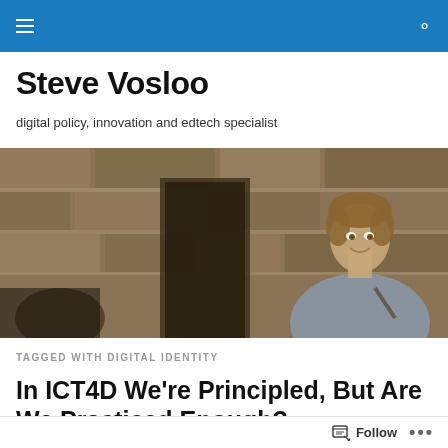Navigation bar with menu and search icons
Steve Vosloo
digital policy, innovation and edtech specialist
[Figure (photo): Hero banner photo of a young man smiling, leaning against a stone wall with a doorway in the background]
TAGGED WITH DIGITAL IDENTITY
In ICT4D We're Principled, But Are We Practiced Enough? –
Follow